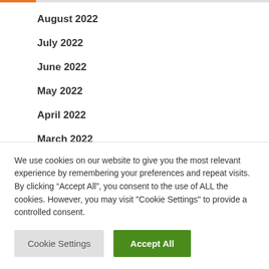August 2022
July 2022
June 2022
May 2022
April 2022
March 2022
We use cookies on our website to give you the most relevant experience by remembering your preferences and repeat visits. By clicking “Accept All”, you consent to the use of ALL the cookies. However, you may visit "Cookie Settings" to provide a controlled consent.
Cookie Settings | Accept All